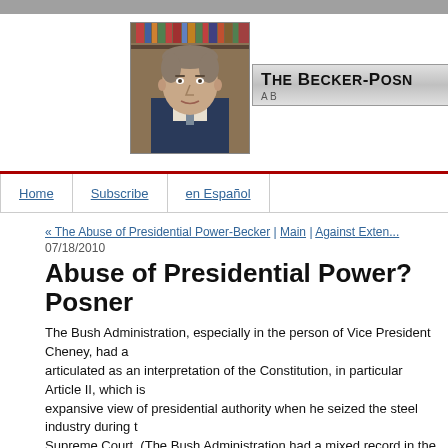[Figure (photo): Portrait photo of a man (Judge Posner) in front of bookshelves, alongside The Becker-Posner blog banner with subtitle 'A B...']
Home | Subscribe | en Español
« The Abuse of Presidential Power-Becker | Main | Against Exten...
07/18/2010
Abuse of Presidential Power? Posner
The Bush Administration, especially in the person of Vice President Cheney, had a... articulated as an interpretation of the Constitution, in particular Article II, which is... expansive view of presidential authority when he seized the steel industry during t... Supreme Court. (The Bush Administration had a mixed record in the Supreme Co... authority, which centered on antiterrorist policy.) Clinton used administrative regu... with which he had to deal after the 1994 election. Other Presidents, notably Linco... violate the Constitution, as when Lincoln suspended habeas corpus at the outset o... Constitution authorizes only Congress to suspend habeas corpus.